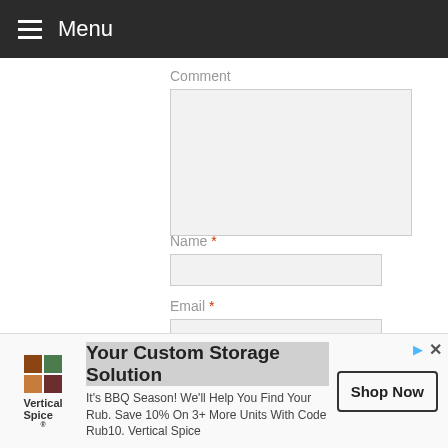Menu
Comment
Name *
Email *
Website
[Figure (screenshot): Advertisement banner for Vertical Spice with logo, text 'Your Custom Storage Solution', body text 'It's BBQ Season! We'll Help You Find Your Rub. Save 10% On 3+ More Units With Code Rub10. Vertical Spice', and a Shop Now button]